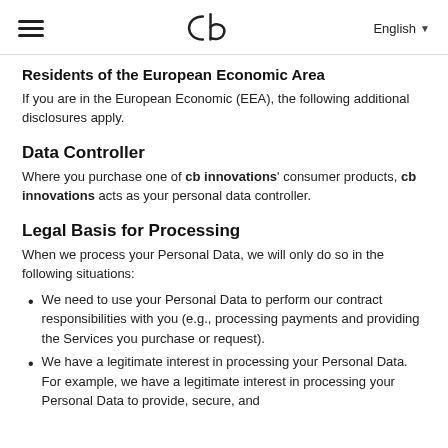cb innovations — English
Residents of the European Economic Area
If you are in the European Economic (EEA), the following additional disclosures apply.
Data Controller
Where you purchase one of cb innovations' consumer products, cb innovations acts as your personal data controller.
Legal Basis for Processing
When we process your Personal Data, we will only do so in the following situations:
We need to use your Personal Data to perform our contract responsibilities with you (e.g., processing payments and providing the Services you purchase or request).
We have a legitimate interest in processing your Personal Data. For example, we have a legitimate interest in processing your Personal Data to provide, secure, and